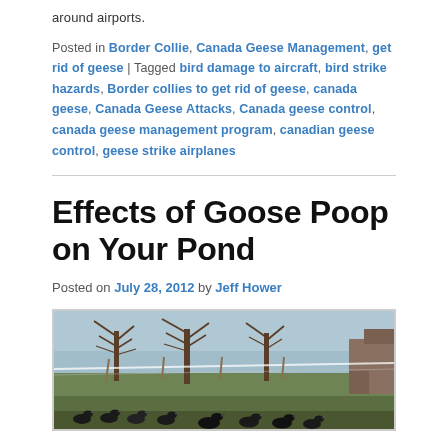around airports.
Posted in Border Collie, Canada Geese Management, get rid of geese | Tagged bird damage to aircraft, bird strike hazards, Border collies to get rid of geese, canada geese, Canada Geese Attacks, Canada geese control, canada geese management program, canadian geese control, geese strike airplanes
Effects of Goose Poop on Your Pond
Posted on July 28, 2012 by Jeff Hower
[Figure (photo): Photo of Canada geese gathered near a pond with bare trees and a fence line in the background]